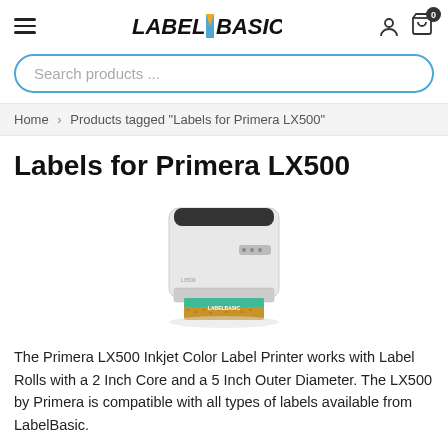LABELBASIC
Search products ...
Home > Products tagged "Labels for Primera LX500"
Labels for Primera LX500
[Figure (photo): Photo of the Primera LX500 Inkjet Color Label Printer, a white compact desktop printer with a teal/colored label being fed out from the front.]
The Primera LX500 Inkjet Color Label Printer works with Label Rolls with a 2 Inch Core and a 5 Inch Outer Diameter. The LX500 by Primera is compatible with all types of labels available from LabelBasic.